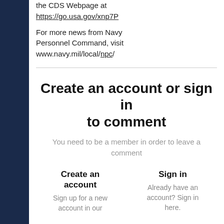the CDS Webpage at https://go.usa.gov/xnp7P
For more news from Navy Personnel Command, visit www.navy.mil/local/npc/
Create an account or sign in to comment
You need to be a member in order to leave a comment
Create an account
Sign up for a new account in our
Sign in
Already have an account? Sign in here.